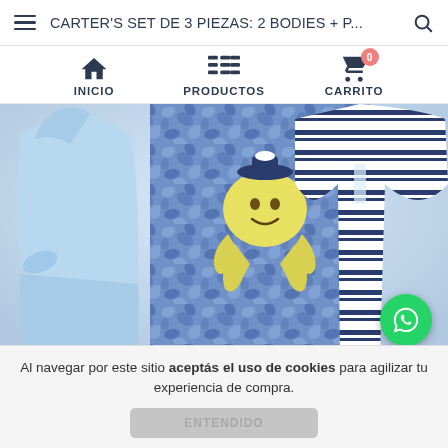CARTER'S SET DE 3 PIEZAS: 2 BODIES + P...
[Figure (screenshot): Navigation menu with icons for INICIO (home), PRODUCTOS (products list), CARRITO (shopping cart with badge showing 0)]
[Figure (photo): Carter's baby clothing set showing a light blue onesie on the left, blue tie-dye pants with a yellow smiling octopus/crab applique wearing a sailor hat in the center, and a white/navy striped onesie on the right]
Al navegar por este sitio aceptás el uso de cookies para agilizar tu experiencia de compra.
ENTENDIDO